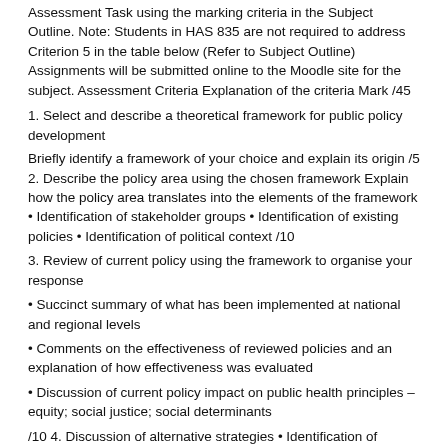Assessment Task using the marking criteria in the Subject Outline. Note: Students in HAS 835 are not required to address Criterion 5 in the table below (Refer to Subject Outline) Assignments will be submitted online to the Moodle site for the subject. Assessment Criteria Explanation of the criteria Mark /45
1. Select and describe a theoretical framework for public policy development
Briefly identify a framework of your choice and explain its origin /5 2. Describe the policy area using the chosen framework Explain how the policy area translates into the elements of the framework • Identification of stakeholder groups • Identification of existing policies • Identification of political context /10
3. Review of current policy using the framework to organise your response
• Succinct summary of what has been implemented at national and regional levels
• Comments on the effectiveness of reviewed policies and an explanation of how effectiveness was evaluated
• Discussion of current policy impact on public health principles – equity; social justice; social determinants
/10 4. Discussion of alternative strategies • Identification of tensions and alliances within the stakeholder groups • Discussion